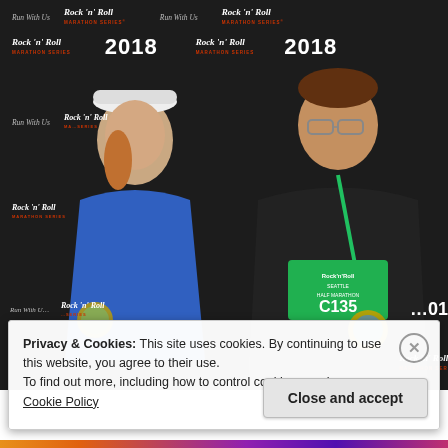[Figure (photo): Two marathon runners posing in front of a Rock 'n' Roll Marathon Series 2018 branded backdrop. A woman on the left wearing a blue shirt and white cap holds up a medal. A man on the right wearing a black shirt displays his Rock 'n' Roll Seattle Half Marathon bib number C135 and medal. Both are smiling.]
Privacy & Cookies: This site uses cookies. By continuing to use this website, you agree to their use.
To find out more, including how to control cookies, see here: Cookie Policy
Close and accept